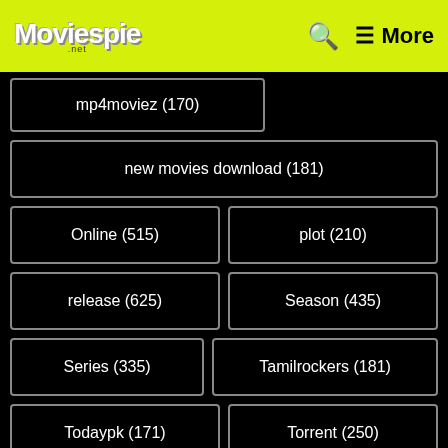Moviespie | ☰ More
mp4moviez (170)
new movies download (181)
Online (515)
plot (210)
release (625)
Season (435)
Series (335)
Tamilrockers (181)
Todaypk (171)
Torrent (250)
Video (312)
watch (595)